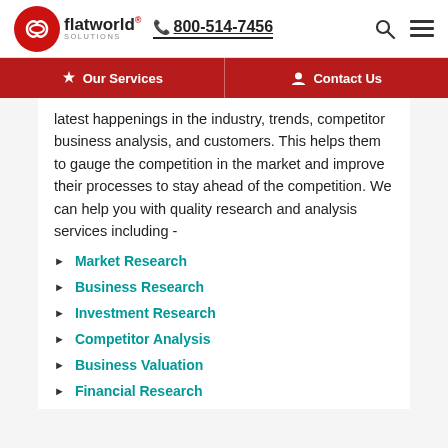flatworld solutions® 800-514-7456
Our Services | Contact Us
latest happenings in the industry, trends, competitor business analysis, and customers. This helps them to gauge the competition in the market and improve their processes to stay ahead of the competition. We can help you with quality research and analysis services including -
Market Research
Business Research
Investment Research
Competitor Analysis
Business Valuation
Financial Research